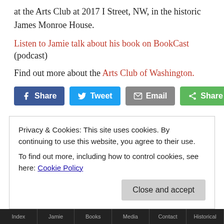at the Arts Club at 2017 I Street, NW, in the historic James Monroe House.
Listen to Jamie talk about his book on BookCast (podcast)
Find out more about the Arts Club of Washington.
[Figure (other): Social sharing buttons: Share (Facebook), Tweet (Twitter), Email, Share (generic)]
Related posts:
1. More Circus Fiction
2. Scary Clowns The Book
Privacy & Cookies: This site uses cookies. By continuing to use this website, you agree to their use.
To find out more, including how to control cookies, see here: Cookie Policy
Close and accept